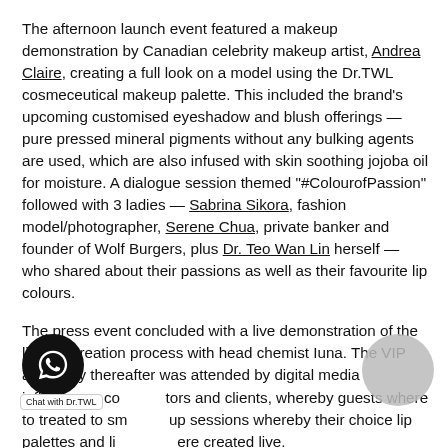The afternoon launch event featured a makeup demonstration by Canadian celebrity makeup artist, Andrea Claire, creating a full look on a model using the Dr.TWL cosmeceutical makeup palette. This included the brand's upcoming customised eyeshadow and blush offerings — pure pressed mineral pigments without any bulking agents are used, which are also infused with skin soothing jojoba oil for moisture. A dialogue session themed "#ColourofPassion" followed with 3 ladies — Sabrina Sikora, fashion model/photographer, Serene Chua, private banker and founder of Wolf Burgers, plus Dr. Teo Wan Lin herself — who shared about their passions as well as their favourite lip colours.
The press event concluded with a live demonstration of the lipstick creation process with head chemist Iuna. The VIP afterparty thereafter was attended by digital media influencers, collaborators and clients, whereby guests where to treated to small group sessions whereby their choice lip palettes and lipsticks were created live.